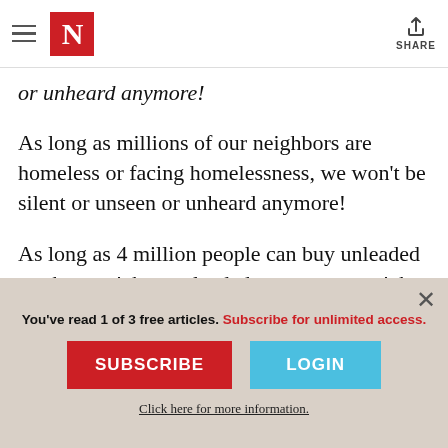The Nation — hamburger menu, N logo, SHARE
or unheard anymore!
As long as millions of our neighbors are homeless or facing homelessness, we won't be silent or unseen or unheard anymore!
As long as 4 million people can buy unleaded gas but can't buy unleaded water, we won't be silent or unseen or unheard anymore!
You've read 1 of 3 free articles. Subscribe for unlimited access.
SUBSCRIBE
LOGIN
Click here for more information.